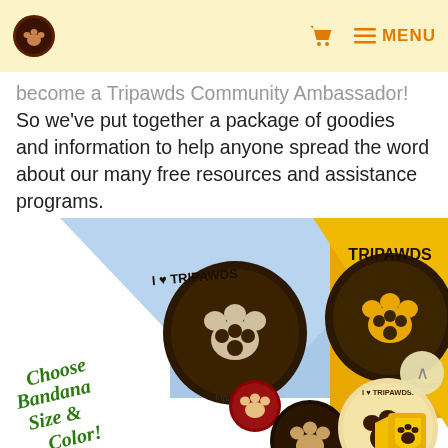[Tripawds logo] [cart icon] MENU
become a Tripawds Community Ambassador! So we've put together a package of goodies and information to help anyone spread the word about our many free resources and assistance programs.
[Figure (photo): Photo of blue and yellow Tripawds bandanas with paw print logos, plus various pins/buttons including a large 'I Love Tripawds' round button, a dark brown paw print button, a red paw print button, and an Ambassador badge. Text reads 'Choose Bandana Size & Color!' in green script.]